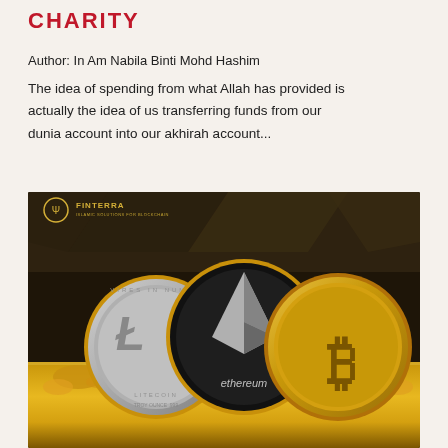CHARITY
Author: In Am Nabila Binti Mohd Hashim
The idea of spending from what Allah has provided is actually the idea of us transferring funds from our dunia account into our akhirah account...
[Figure (photo): Photo of three cryptocurrency coins — Litecoin (silver), Ethereum (black/gold), and Bitcoin (gold) — displayed against a dark golden ornamental background. Finterra logo visible in top-left corner of image.]